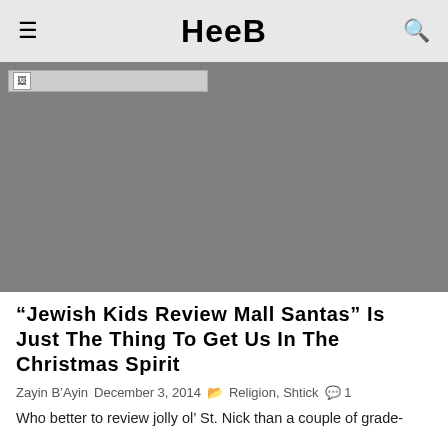HeeB
[Figure (photo): Large grey placeholder image, broken image icon visible at top left]
“Jewish Kids Review Mall Santas” Is Just The Thing To Get Us In The Christmas Spirit
Zayin B'Ayin   December 3, 2014   Religion, Shtick   1
Who better to review jolly ol’ St. Nick than a couple of grade-